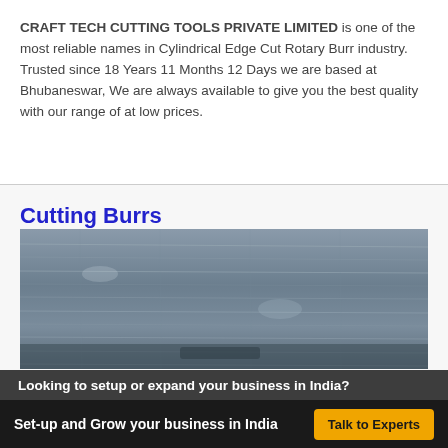CRAFT TECH CUTTING TOOLS PRIVATE LIMITED is one of the most reliable names in Cylindrical Edge Cut Rotary Burr industry. Trusted since 18 Years 11 Months 12 Days we are based at Bhubaneswar, We are always available to give you the best quality with our range of at low prices.
Cutting Burrs
[Figure (photo): Close-up photograph of a metallic surface showing a cutting burr tool with scratch marks and blue-grey oxidized texture]
Looking to setup or expand your business in India?
Set-up and Grow your business in India  Talk to Experts